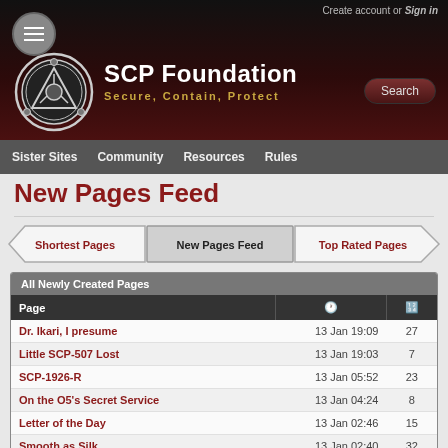Create account or Sign in
SCP Foundation — Secure, Contain, Protect
Sister Sites  Community  Resources  Rules
New Pages Feed
Shortest Pages | New Pages Feed | Top Rated Pages
| Page |  |  |
| --- | --- | --- |
| Dr. Ikari, I presume | 13 Jan 19:09 | 27 |
| Little SCP-507 Lost | 13 Jan 19:03 | 7 |
| SCP-1926-R | 13 Jan 05:52 | 23 |
| On the O5's Secret Service | 13 Jan 04:24 | 8 |
| Letter of the Day | 13 Jan 02:46 | 15 |
| Smooth as Silk | 13 Jan 02:40 | 32 |